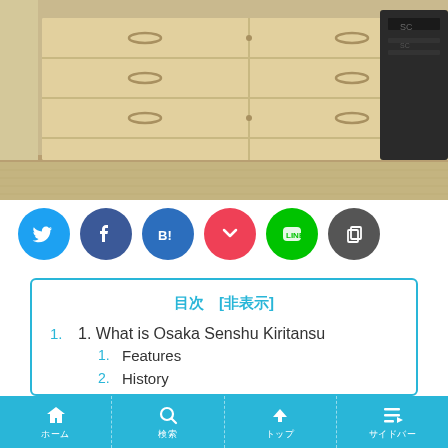[Figure (photo): Photo of a light wood chest of drawers (tansu) with metal ring pulls, next to a dark electronic device, on a tatami-style floor.]
[Figure (infographic): Row of six circular social share buttons: Twitter (blue), Facebook (dark blue), Hatena Bookmark (blue with B!), Pocket (red/pink), LINE (green), Copy (dark grey).]
目次 [非表示]
1. What is Osaka Senshu Kiritansu
1. Features
2. History
2. Work process
3. Initiatives
4. Impressions
ホーム　　検索　　トップ　　サイドバー